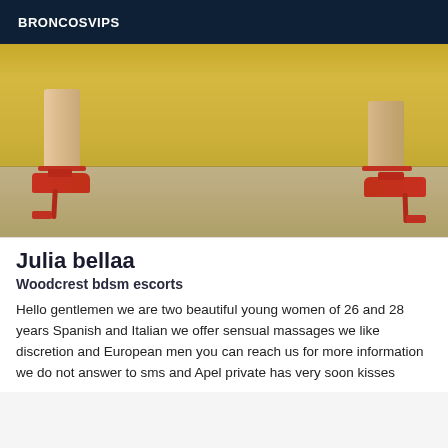BRONCOSVIPS
[Figure (photo): Photo showing two legs wearing red high-heeled sandals standing against a yellow wall with a beige/tan floor]
Julia bellaa
Woodcrest bdsm escorts
Hello gentlemen we are two beautiful young women of 26 and 28 years Spanish and Italian we offer sensual massages we like discretion and European men you can reach us for more information we do not answer to sms and Apel private has very soon kisses